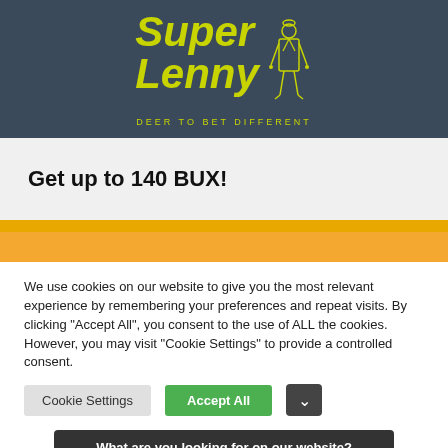[Figure (logo): Super Lenny logo with yellow text on dark blue/grey background, showing 'Super Lenny' text in large italic bold yellow font with a figure of a man in a suit and the tagline 'DEER TO BET DIFFERENT']
Get up to 140 BUX!
We use cookies on our website to give you the most relevant experience by remembering your preferences and repeat visits. By clicking "Accept All", you consent to the use of ALL the cookies. However, you may visit "Cookie Settings" to provide a controlled consent.
Cookie Settings | Accept All | What are you looking for on our website?